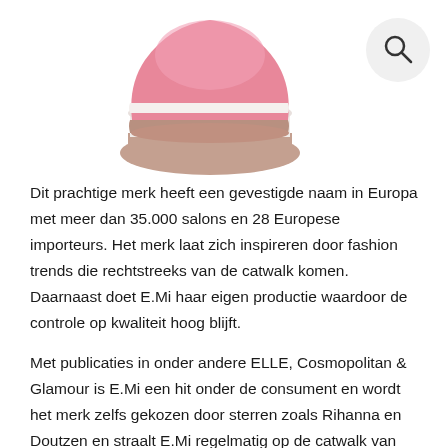[Figure (photo): Partial view of a pink, white, and brown layered cosmetic product (nail gel or similar) bottle/cap from above, and a circular search icon button in the top right corner.]
Dit prachtige merk heeft een gevestigde naam in Europa met meer dan 35.000 salons en 28 Europese importeurs. Het merk laat zich inspireren door fashion trends die rechtstreeks van de catwalk komen. Daarnaast doet E.Mi haar eigen productie waardoor de controle op kwaliteit hoog blijft.
Met publicaties in onder andere ELLE, Cosmopolitan & Glamour is E.Mi een hit onder de consument en wordt het merk zelfs gekozen door sterren zoals Rihanna en Doutzen en straalt E.Mi regelmatig op de catwalk van Fashion Week in onder andere Parijs, Moscow, London & Seoul.
(E.Mi manicure collections draw inspiration from haute couture and can be seen at the hottest fashion shows around the world.